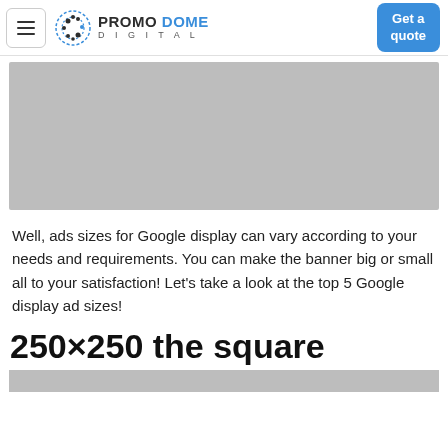PROMO DOME DIGITAL | Get a quote
[Figure (photo): Grey placeholder image banner at top of article]
Well, ads sizes for Google display can vary according to your needs and requirements. You can make the banner big or small all to your satisfaction! Let's take a look at the top 5 Google display ad sizes!
250×250 the square
[Figure (photo): Grey placeholder image banner at bottom of page (partially visible)]